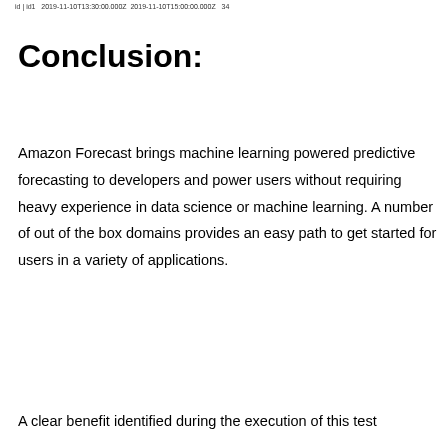id | id1   2019-11-10T13:30:00.000Z  2019-11-10T15:00:00.000Z   34
Conclusion:
Amazon Forecast brings machine learning powered predictive forecasting to developers and power users without requiring heavy experience in data science or machine learning. A number of out of the box domains provides an easy path to get started for users in a variety of applications.
A clear benefit identified during the execution of this test